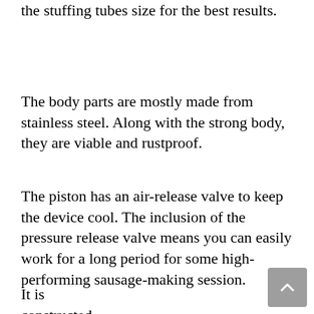the stuffing tubes size for the best results.
The body parts are mostly made from stainless steel. Along with the strong body, they are viable and rustproof.
The piston has an air-release valve to keep the device cool. The inclusion of the pressure release valve means you can easily work for a long period for some high-performing sausage-making session.
It is constructed in a better way that's